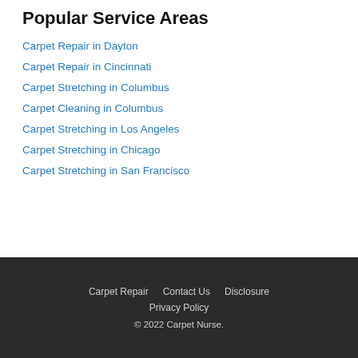Popular Service Areas
Carpet Repair in Dayton
Carpet Repair in Cincinnati
Carpet Stretching in Columbus
Carpet Cleaning in Columbus
Carpet Stretching in Los Angeles
Carpet Stretching in Chicago
Carpet Stretching in San Francisco
Carpet Repair   Contact Us   Disclosure   Privacy Policy   © 2022 Carpet Nurse.